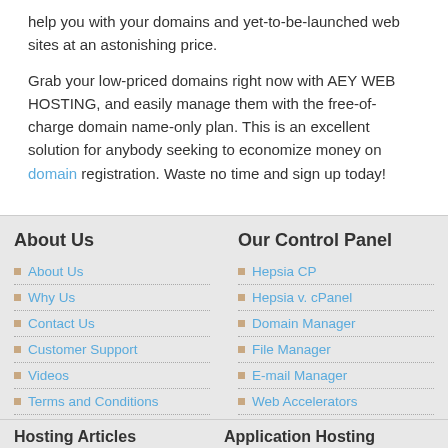help you with your domains and yet-to-be-launched web sites at an astonishing price.
Grab your low-priced domains right now with AEY WEB HOSTING, and easily manage them with the free-of-charge domain name-only plan. This is an excellent solution for anybody seeking to economize money on domain registration. Waste no time and sign up today!
About Us
About Us
Why Us
Contact Us
Customer Support
Videos
Terms and Conditions
Our Control Panel
Hepsia CP
Hepsia v. cPanel
Domain Manager
File Manager
E-mail Manager
Web Accelerators
Hosting Articles
Application Hosting